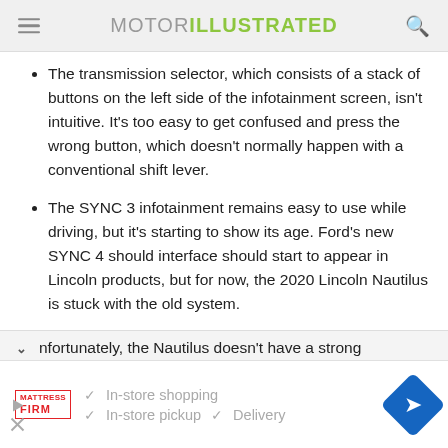MOTOR ILLUSTRATED
The transmission selector, which consists of a stack of buttons on the left side of the infotainment screen, isn't intuitive. It's too easy to get confused and press the wrong button, which doesn't normally happen with a conventional shift lever.
The SYNC 3 infotainment remains easy to use while driving, but it's starting to show its age. Ford's new SYNC 4 should interface should start to appear in Lincoln products, but for now, the 2020 Lincoln Nautilus is stuck with the old system.
nfortunately, the Nautilus doesn't have a strong
[Figure (infographic): Advertisement for Mattress Firm showing checkmarks for In-store shopping, In-store pickup, and Delivery services with a blue diamond navigation icon]